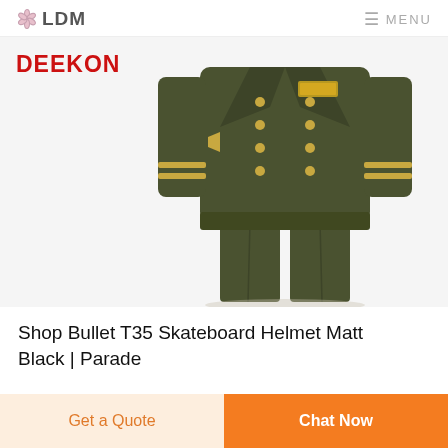LDM   MENU
[Figure (photo): Military olive green dress uniform jacket and trousers with gold buttons and gold stripe details on sleeves, displayed on a mannequin against a light background. DEEKON brand label in red top-left.]
Shop Bullet T35 Skateboard Helmet Matt Black | Parade
Get a Quote
Chat Now